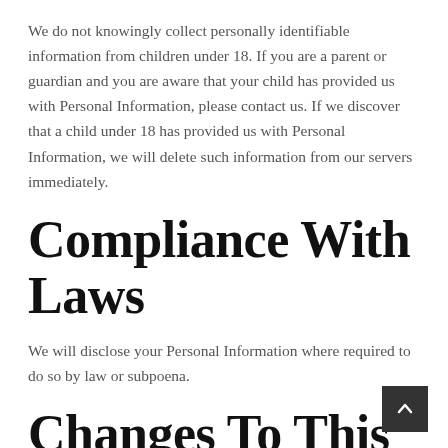We do not knowingly collect personally identifiable information from children under 18. If you are a parent or guardian and you are aware that your child has provided us with Personal Information, please contact us. If we discover that a child under 18 has provided us with Personal Information, we will delete such information from our servers immediately.
Compliance With Laws
We will disclose your Personal Information where required to do so by law or subpoena.
Changes To This